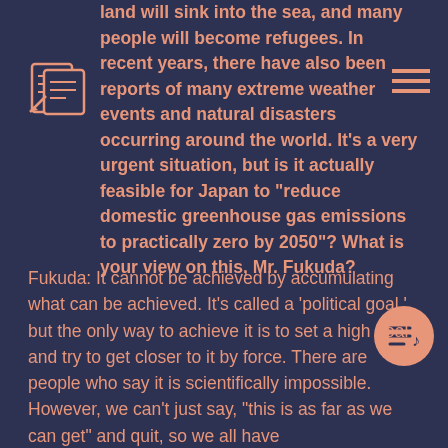land will sink into the sea, and many people will become refugees. In recent years, there have also been reports of many extreme weather events and natural disasters occurring around the world. It’s a very urgent situation, but is it actually feasible for Japan to “reduce domestic greenhouse gas emissions to practically zero by 2050”? What is your view on this, Mr. Fukuda?
Fukuda: It cannot be achieved by accumulating what can be achieved. It’s called a ‘political goal,’ but the only way to achieve it is to set a high goal and try to get closer to it by force. There are people who say it is scientifically impossible. However, we can’t just say, “this is as far as we can get” and quit, so we all have